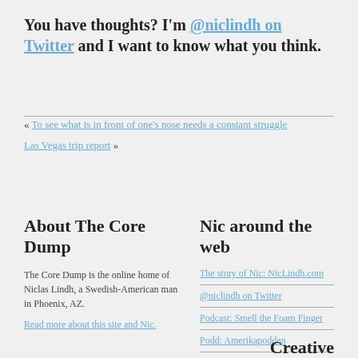You have thoughts? I'm @niclindh on Twitter and I want to know what you think.
« To see what is in front of one's nose needs a constant struggle
Las Vegas trip report »
About The Core Dump
The Core Dump is the online home of Niclas Lindh, a Swedish-American man in Phoenix, AZ.
Read more about this site and Nic.
Nic around the web
The story of Nic: NicLindh.com
@niclindh on Twitter
Podcast: Smell the Foam Finger
Podd: Amerikapodden
Creative